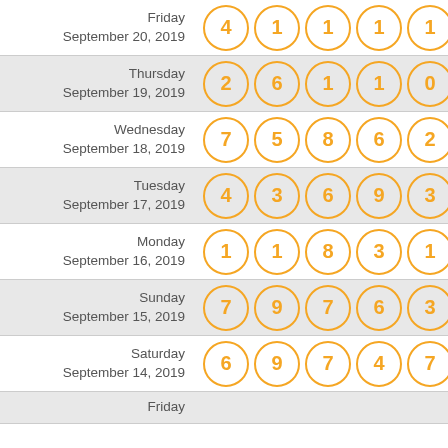| Date | Numbers |
| --- | --- |
| Friday September 20, 2019 | 4 1 1 1 1 |
| Thursday September 19, 2019 | 2 6 1 1 0 |
| Wednesday September 18, 2019 | 7 5 8 6 2 |
| Tuesday September 17, 2019 | 4 3 6 9 3 |
| Monday September 16, 2019 | 1 1 8 3 1 |
| Sunday September 15, 2019 | 7 9 7 6 3 |
| Saturday September 14, 2019 | 6 9 7 4 7 |
| Friday ... | ... |